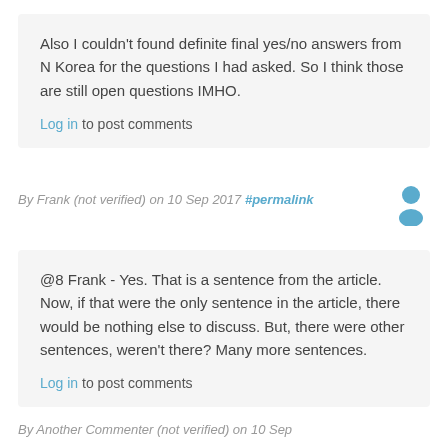Also I couldn't found definite final yes/no answers from N Korea for the questions I had asked. So I think those are still open questions IMHO.
Log in to post comments
By Frank (not verified) on 10 Sep 2017 #permalink
@8 Frank - Yes. That is a sentence from the article. Now, if that were the only sentence in the article, there would be nothing else to discuss. But, there were other sentences, weren't there? Many more sentences.
Log in to post comments
By Another Commenter (not verified) on 10 Sep